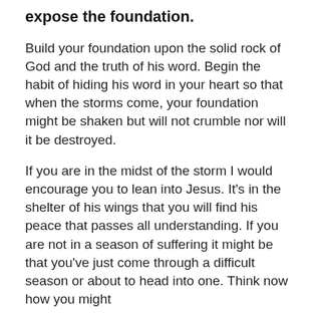expose the foundation.
Build your foundation upon the solid rock of God and the truth of his word. Begin the habit of hiding his word in your heart so that when the storms come, your foundation might be shaken but will not crumble nor will it be destroyed.
If you are in the midst of the storm I would encourage you to lean into Jesus. It’s in the shelter of his wings that you will find his peace that passes all understanding. If you are not in a season of suffering it might be that you’ve just come through a difficult season or about to head into one. Think now how you might